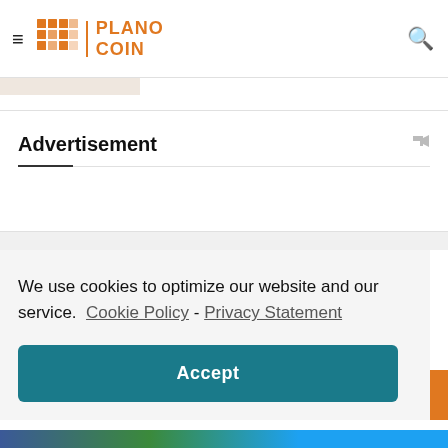time 1 comment.
[Figure (screenshot): Plano Coin website navigation bar with hamburger menu, orange grid logo, Plano Coin text, and search icon]
Advertisement
We use cookies to optimize our website and our service. Cookie Policy - Privacy Statement
Accept